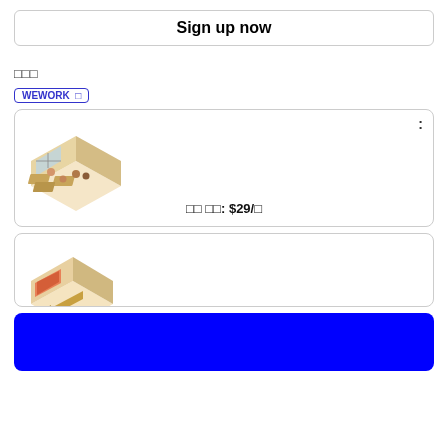Sign up now
□□□
WEWORK □
[Figure (illustration): Isometric illustration of an open office workspace with desks and people. Shows a three-dimensional view of a coworking space.]
□□ □□: $29/□
[Figure (illustration): Isometric illustration of a private office or meeting room with a screen/display on the wall.]
[Figure (other): Solid blue rectangle button/banner area]